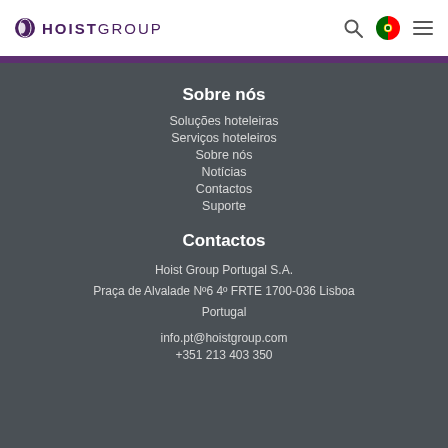Hoist Group
Sobre nós
Soluções hoteleiras
Serviços hoteleiros
Sobre nós
Notícias
Contactos
Suporte
Contactos
Hoist Group Portugal S.A.
Praça de Alvalade Nº6 4º FRTE 1700-036 Lisboa
Portugal
info.pt@hoistgroup.com
+351 213 403 350